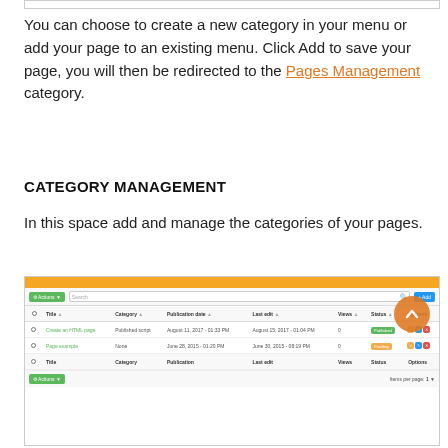[Figure (screenshot): Partial screenshot of a table/form at the top of the page showing a cut-off interface element]
You can choose to create a new category in your menu or add your page to an existing menu. Click Add to save your page, you will then be redirected to the Pages Management category.
CATEGORY MANAGEMENT
In this space add and manage the categories of your pages.
[Figure (screenshot): Screenshot of a category management interface table with columns Title, Category, Publication date, Last edit, Views, Status, Options. Rows include 'Create an HTML page' with status Published and 'Page example' with status Pending.]